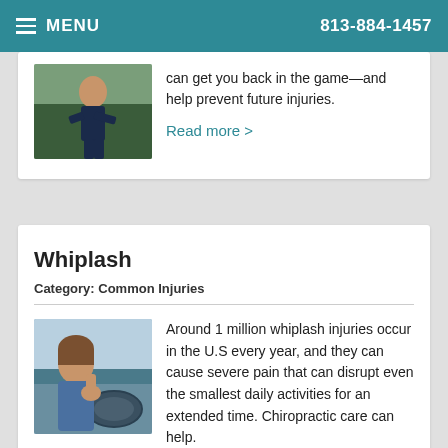MENU   813-884-1457
can get you back in the game—and help prevent future injuries.
Read more >
Whiplash
Category: Common Injuries
[Figure (photo): Person holding their neck, seated in a car, depicting whiplash injury]
Around 1 million whiplash injuries occur in the U.S every year, and they can cause severe pain that can disrupt even the smallest daily activities for an extended time. Chiropractic care can help.
Read more >